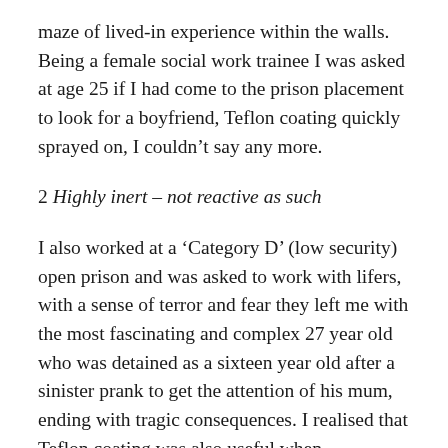maze of lived-in experience within the walls. Being a female social work trainee I was asked at age 25 if I had come to the prison placement to look for a boyfriend, Teflon coating quickly sprayed on, I couldn't say any more.
2 Highly inert – not reactive as such
I also worked at a 'Category D' (low security) open prison and was asked to work with lifers, with a sense of terror and fear they left me with the most fascinating and complex 27 year old who was detained as a sixteen year old after a sinister prank to get the attention of his mum, ending with tragic consequences. I realised that Teflon coating was also useful when